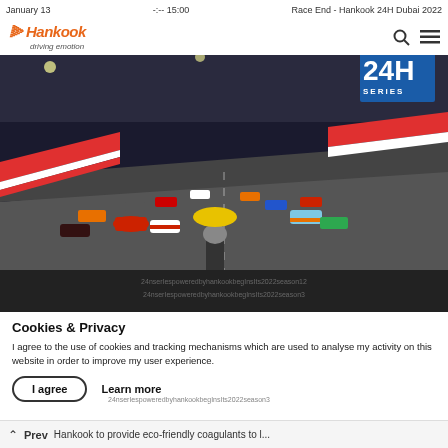January 13   -:-- 15:00   Race End - Hankook 24H Dubai 2022
[Figure (logo): Hankook Tyre logo with tagline 'driving emotion' in orange and grey]
[Figure (photo): Racing cars on a circuit at night for the Hankook 24H Dubai 2022 race, multiple GT cars visible on track with a 24H Series badge in top right corner]
24nserIespoweredbyhankookbegInsIts2022season12
24nserIespoweredbyhankookbegInsIts2022season3
Cookies & Privacy
I agree to the use of cookies and tracking mechanisms which are used to analyse my activity on this website in order to improve my user experience.
I agree   Learn more
Prev   Hankook to provide eco-friendly coagulants to l...